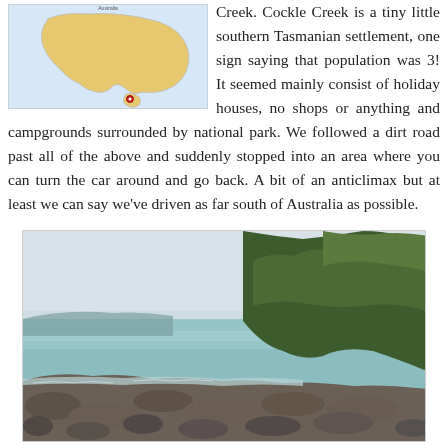[Figure (map): Small map of Australia with Tasmania highlighted and a red pin marker indicating Cockle Creek location in southern Tasmania]
Creek. Cockle Creek is a tiny little southern Tasmanian settlement, one sign saying that population was 3! It seemed mainly consist of holiday houses, no shops or anything and campgrounds surrounded by national park. We followed a dirt road past all of the above and suddenly stopped into an area where you can turn the car around and go back. A bit of an anticlimax but at least we can say we've driven as far south of Australia as possible.
[Figure (photo): Coastal scene at Cockle Creek, Tasmania, showing rocky shoreline with boulders in the foreground, calm turquoise-green water, and dense green bushland/trees on the right side, under an overcast grey sky]